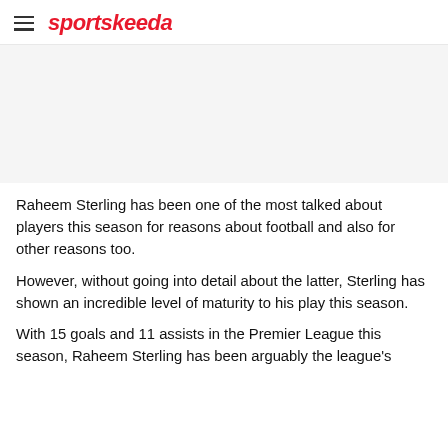sportskeeda
[Figure (other): Image placeholder area (article image, white/light grey background)]
Raheem Sterling has been one of the most talked about players this season for reasons about football and also for other reasons too.
However, without going into detail about the latter, Sterling has shown an incredible level of maturity to his play this season.
With 15 goals and 11 assists in the Premier League this season, Raheem Sterling has been arguably the league's